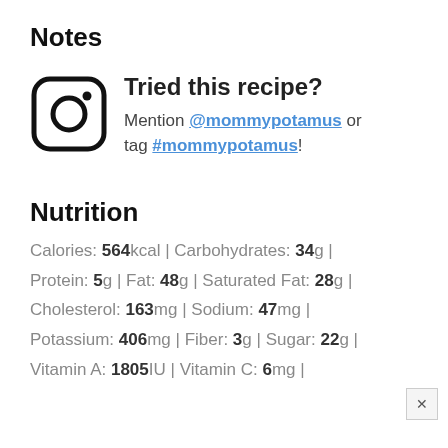Notes
[Figure (illustration): Instagram camera icon (rounded square with circle and dot)]
Tried this recipe? Mention @mommypotamus or tag #mommypotamus!
Nutrition
Calories: 564kcal | Carbohydrates: 34g | Protein: 5g | Fat: 48g | Saturated Fat: 28g | Cholesterol: 163mg | Sodium: 47mg | Potassium: 406mg | Fiber: 3g | Sugar: 22g | Vitamin A: 1805IU | Vitamin C: 6mg |